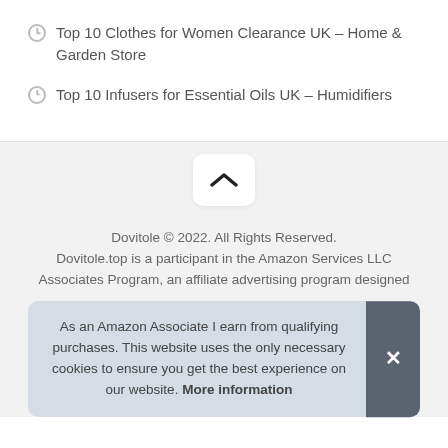Top 10 Clothes for Women Clearance UK – Home & Garden Store
Top 10 Infusers for Essential Oils UK – Humidifiers
[Figure (illustration): Back to top button with upward chevron arrow on white rounded rectangle, on grey background]
Dovitole © 2022. All Rights Reserved. Dovitole.top is a participant in the Amazon Services LLC Associates Program, an affiliate advertising program designed
As an Amazon Associate I earn from qualifying purchases. This website uses the only necessary cookies to ensure you get the best experience on our website. More information